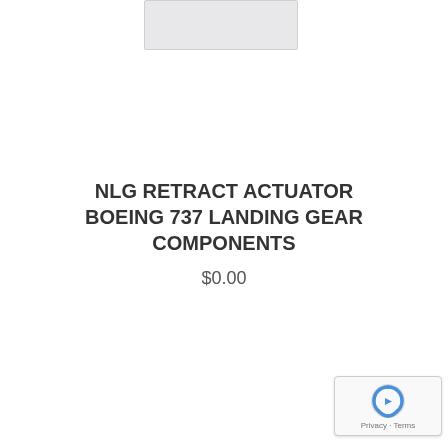[Figure (photo): Partial product image of NLG Retract Actuator component — white/light gray part visible at top of page]
NLG RETRACT ACTUATOR BOEING 737 LANDING GEAR COMPONENTS
$0.00
[Figure (other): reCAPTCHA badge with Privacy and Terms links]